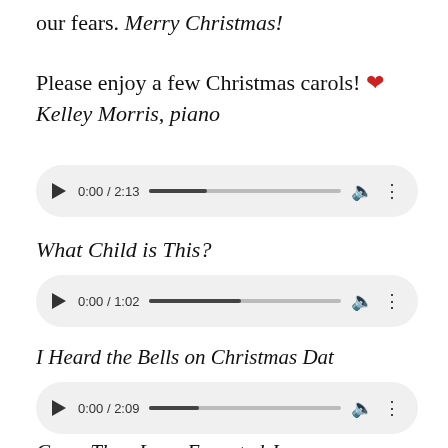our fears. Merry Christmas!
Please enjoy a few Christmas carols! ❤ Kelley Morris, piano
[Figure (screenshot): Audio player showing 0:00 / 2:13 with progress bar]
What Child is This?
[Figure (screenshot): Audio player showing 0:00 / 1:02 with progress bar]
I Heard the Bells on Christmas Dat
[Figure (screenshot): Audio player showing 0:00 / 2:09 with progress bar]
Come Thou Long Expected Je...